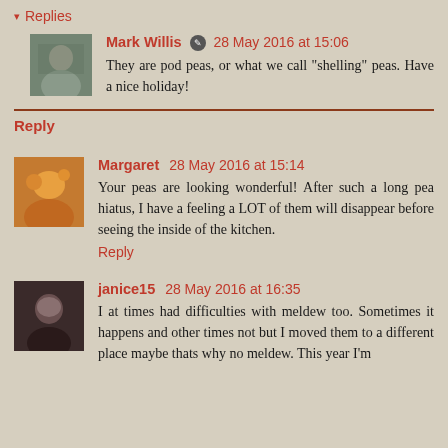▾ Replies
Mark Willis 28 May 2016 at 15:06
They are pod peas, or what we call "shelling" peas. Have a nice holiday!
Reply
Margaret 28 May 2016 at 15:14
Your peas are looking wonderful! After such a long pea hiatus, I have a feeling a LOT of them will disappear before seeing the inside of the kitchen.
Reply
janice15 28 May 2016 at 16:35
I at times had difficulties with meldew too. Sometimes it happens and other times not but I moved them to a different place maybe thats why no meldew. This year I'm